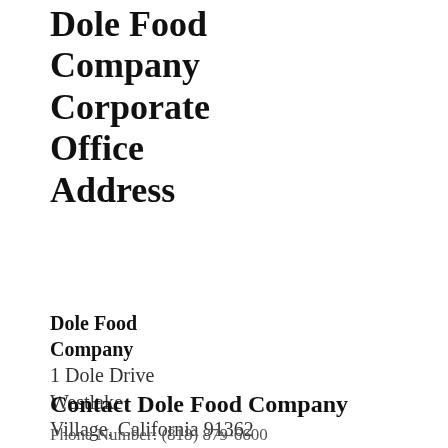Dole Food Company Corporate Office Address
Dole Food Company
1 Dole Drive
Westlake Village, California 91362
Contact Dole Food Company
Phone Number: (818) 879-6600
v